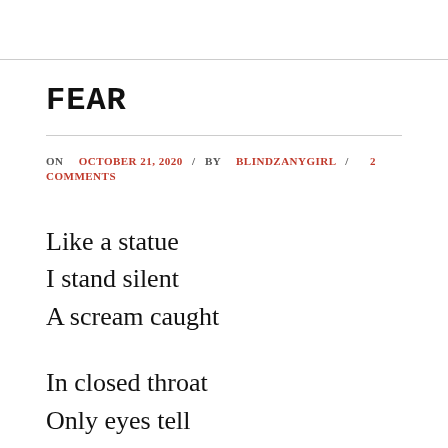FEAR
ON OCTOBER 21, 2020 / BY BLINDZANYGIRL / 2 COMMENTS
Like a statue
I stand silent
A scream caught

In closed throat
Only eyes tell
The horror within